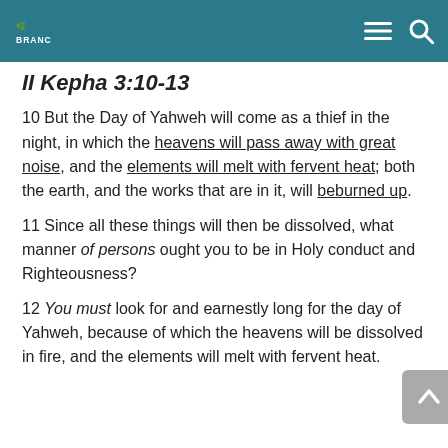BRANCH
II Kepha 3:10-13
10 But the Day of Yahweh will come as a thief in the night, in which the heavens will pass away with great noise, and the elements will melt with fervent heat; both the earth, and the works that are in it, will beburned up.
11 Since all these things will then be dissolved, what manner of persons ought you to be in Holy conduct and Righteousness?
12 You must look for and earnestly long for the day of Yahweh, because of which the heavens will be dissolved in fire, and the elements will melt with fervent heat.